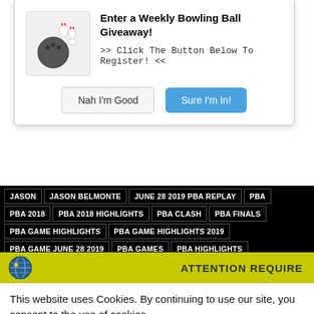[Figure (screenshot): Modal popup with bowling ball icon, title 'Enter a Weekly Bowling Ball Giveaway!', subtitle '>> Click The Button Below To Register! <<', and two buttons: 'Nah I'm Good' and 'Sure I'm In!']
JASON | JASON BELMONTE | JUNE 28 2019 PBA REPLAY | PBA | PBA 2018 | PBA 2018 HIGHLIGHTS | PBA CLASH | PBA FINALS | PBA GAME HIGHLIGHTS | PBA GAME HIGHLIGHTS 2019 | PBA GAME JUNE 28 2019 | PBA GAMES | PBA HIGHLIGHTS | PBA JONESBORO OPEN | PBA MOMENTS | PBA ON ESPN | PBA ON FOX | PBA PBA BRUNSWICK RADICAL DV8 STORM | PBA REPLAY | TOP 5 PBA MOMENTS OF 2019
[Figure (screenshot): GDPR cookie consent banner with yellow top bar showing globe icon and 'ATTENTION REQUIRED' text. Body reads: 'This website uses Cookies. By continuing to use our site, you consent to the use of cookies.' with Accept and Privacy Center buttons.]